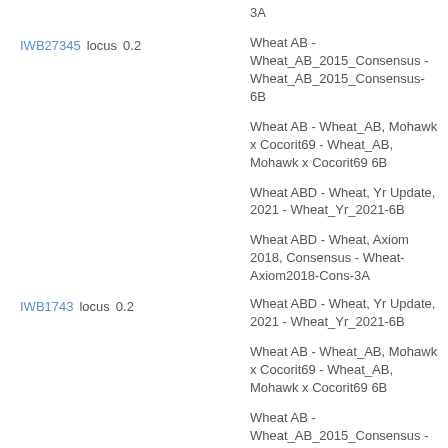3A
IWB27345  locus  0.2
Wheat AB - Wheat_AB_2015_Consensus - Wheat_AB_2015_Consensus-6B
Wheat AB - Wheat_AB, Mohawk x Cocorit69 - Wheat_AB, Mohawk x Cocorit69 6B
Wheat ABD - Wheat, Yr Update, 2021 - Wheat_Yr_2021-6B
Wheat ABD - Wheat, Axiom 2018, Consensus - Wheat-Axiom2018-Cons-3A
IWB1743  locus  0.2
Wheat ABD - Wheat, Yr Update, 2021 - Wheat_Yr_2021-6B
Wheat AB - Wheat_AB, Mohawk x Cocorit69 - Wheat_AB, Mohawk x Cocorit69 6B
Wheat AB - Wheat_AB_2015_Consensus - Wheat_AB_2015_Consensus-6B
Wheat AB - Wheat_AB, Mohawk x Cocorit69 - Wheat_AB, Mohawk x Cocorit69 6B